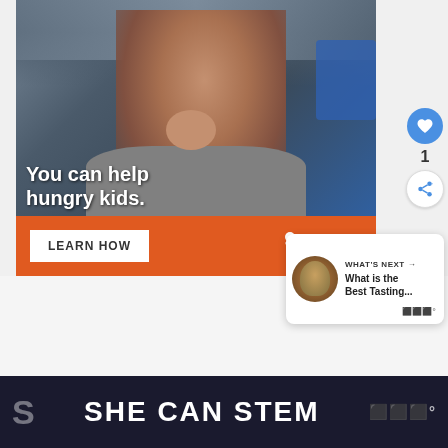[Figure (photo): Advertisement banner for No Kid Hungry. Shows a young boy eating in a classroom with text overlay 'You can help hungry kids.' and an orange bar below with 'LEARN HOW' button and No Kid Hungry logo.]
[Figure (infographic): Social interaction buttons: heart/like button (blue circle), count '1', and share button.]
[Figure (infographic): What's Next panel with thumbnail and text 'What is the Best Tasting...' and Wochit logo.]
SHE CAN STEM